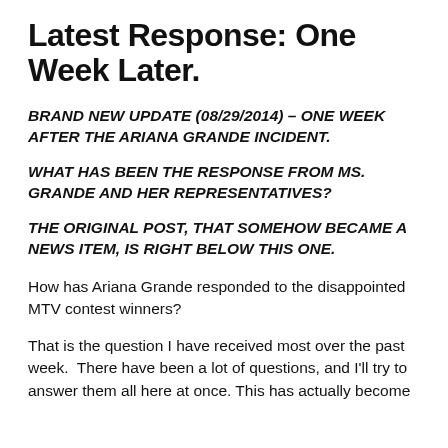Latest Response: One Week Later.
BRAND NEW UPDATE (08/29/2014) – ONE WEEK AFTER THE ARIANA GRANDE INCIDENT.
WHAT HAS BEEN THE RESPONSE FROM MS. GRANDE AND HER REPRESENTATIVES?
THE ORIGINAL POST, THAT SOMEHOW BECAME A NEWS ITEM, IS RIGHT BELOW THIS ONE.
How has Ariana Grande responded to the disappointed MTV contest winners?
That is the question I have received most over the past week.  There have been a lot of questions, and I'll try to answer them all here at once. This has actually become